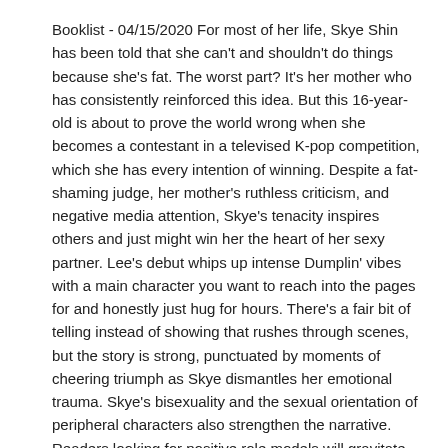Booklist - 04/15/2020 For most of her life, Skye Shin has been told that she can't and shouldn't do things because she's fat. The worst part? It's her mother who has consistently reinforced this idea. But this 16-year-old is about to prove the world wrong when she becomes a contestant in a televised K-pop competition, which she has every intention of winning. Despite a fat-shaming judge, her mother's ruthless criticism, and negative media attention, Skye's tenacity inspires others and just might win her the heart of her sexy partner. Lee's debut whips up intense Dumplin' vibes with a main character you want to reach into the pages for and honestly just hug for hours. There's a fair bit of telling instead of showing that rushes through scenes, but the story is strong, punctuated by moments of cheering triumph as Skye dismantles her emotional trauma. Skye's bisexuality and the sexual orientation of peripheral characters also strengthen the narrative. Readers looking for positive role models will gravitate to Skye's story, which will resonate with girls of every size. - Copyright 2020 Booklist.
School Library Journal - 05/01/2020 Gr 7–10—Skye Shin is plus-sized, bodypositive, and mega-talented despite the negativity her mother continually batters her with. Skye sings and dances in her audition for a spot on "You're My Shining Star," hoping to become a breakout K-pop star. When she gets in for both talents, the real challenges begin: to win and tackle prejudice because of her size and her budding relationship with celebrity Henry Cho, who is also on the show. Skye